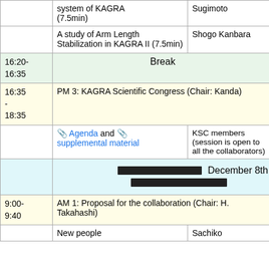| Time | Title | Speaker | Links |
| --- | --- | --- | --- |
|  | system of KAGRA (7.5min) | Sugimoto | × |
|  | A study of Arm Length Stabilization in KAGRA II (7.5min) | Shogo Kanbara | 🌐 × |
| 16:20-16:35 | Break |  |  |
| 16:35 - 18:35 | PM 3: KAGRA Scientific Congress (Chair: Kanda) |  |  |
|  | 📎 Agenda and 📎 supplemental material | KSC members (session is open to all the collaborators) | 🌐 × |
|  | December 8th (Thur.) |  |  |
| 9:00-9:40 | AM 1: Proposal for the collaboration (Chair: H. Takahashi) |  |  |
|  | New people | Sachiko |  |